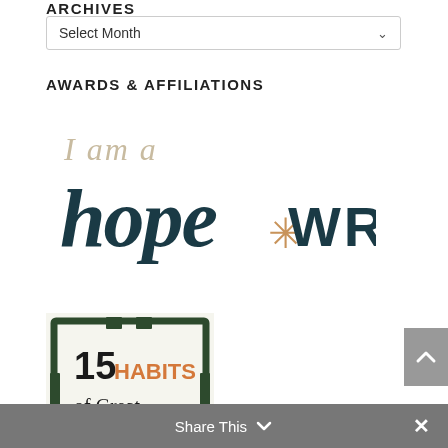ARCHIVES
Select Month
AWARDS & AFFILIATIONS
[Figure (logo): I am a hope*WRITER logo in dark teal handwritten script with a tan asterisk]
[Figure (illustration): 15 HABITS of Great Writers - goinswriter.com badge in a dark green pencil frame]
Share This
×